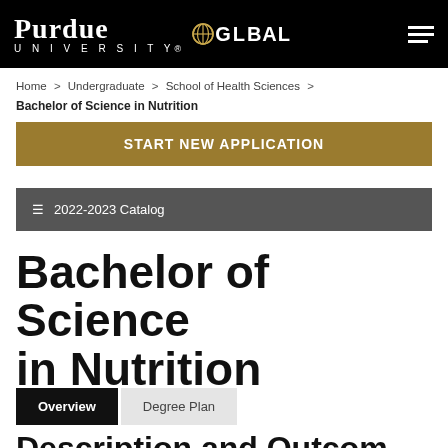PURDUE UNIVERSITY GLOBAL
Home > Undergraduate > School of Health Sciences > Bachelor of Science in Nutrition
START NEW APPLICATION
☰ 2022-2023 Catalog
Bachelor of Science in Nutrition
Overview | Degree Plan
Description and Outcomes